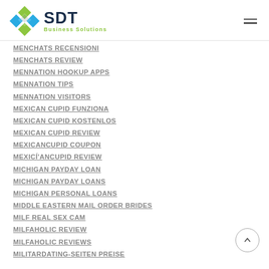[Figure (logo): SDT Business Solutions logo with green/blue diamond pattern icon and dark navy SDT text with green 'Business Solutions' subtitle]
MENCHATS RECENSIONI
MENCHATS REVIEW
MENNATION HOOKUP APPS
MENNATION TIPS
MENNATION VISITORS
MEXICAN CUPID FUNZIONA
MEXICAN CUPID KOSTENLOS
MEXICAN CUPID REVIEW
MEXICANCUPID COUPON
MEXICÍ'ANCUPID REVIEW
MICHIGAN PAYDAY LOAN
MICHIGAN PAYDAY LOANS
MICHIGAN PERSONAL LOANS
MIDDLE EASTERN MAIL ORDER BRIDES
MILF REAL SEX CAM
MILFAHOLIC REVIEW
MILFAHOLIC REVIEWS
MILITARDATING-SEITEN PREISE